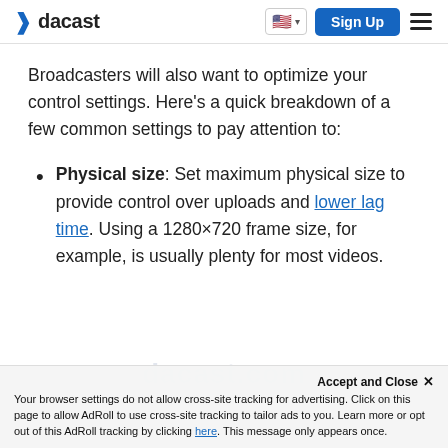dacast | Sign Up
Broadcasters will also want to optimize your control settings. Here’s a quick breakdown of a few common settings to pay attention to:
Physical size: Set maximum physical size to provide control over uploads and lower lag time. Using a 1280×720 frame size, for example, is usually plenty for most videos.
Your browser settings do not allow cross-site tracking for advertising. Click on this page to allow AdRoll to use cross-site tracking to tailor ads to you. Learn more or opt out of this AdRoll tracking by clicking here. This message only appears once.